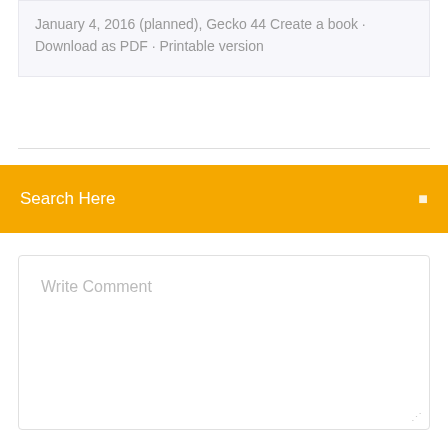January 4, 2016 (planned), Gecko 44 Create a book · Download as PDF · Printable version
Search Here
Write Comment